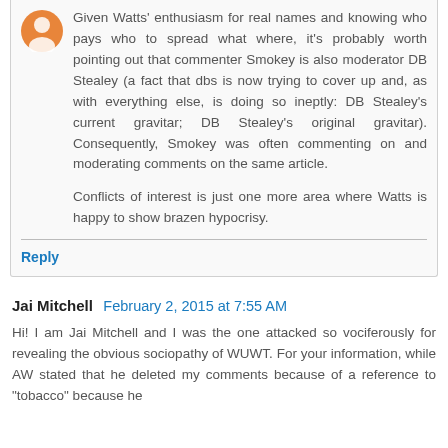Given Watts' enthusiasm for real names and knowing who pays who to spread what where, it's probably worth pointing out that commenter Smokey is also moderator DB Stealey (a fact that dbs is now trying to cover up and, as with everything else, is doing so ineptly: DB Stealey's current gravitar; DB Stealey's original gravitar). Consequently, Smokey was often commenting on and moderating comments on the same article.
Conflicts of interest is just one more area where Watts is happy to show brazen hypocrisy.
Reply
Jai Mitchell  February 2, 2015 at 7:55 AM
Hi! I am Jai Mitchell and I was the one attacked so vociferously for revealing the obvious sociopathy of WUWT. For your information, while AW stated that he deleted my comments because of a reference to "tobacco" because he